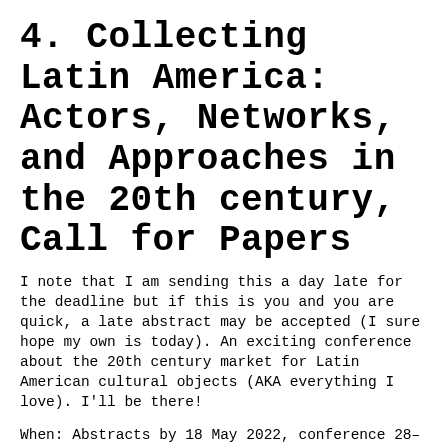4. Collecting Latin America: Actors, Networks, and Approaches in the 20th century, Call for Papers
I note that I am sending this a day late for the deadline but if this is you and you are quick, a late abstract may be accepted (I sure hope my own is today). An exciting conference about the 20th century market for Latin American cultural objects (AKA everything I love). I'll be there!
When: Abstracts by 18 May 2022, conference 28–29 June 2022
Where: Leiden University, The Netherlands
Cost: Free